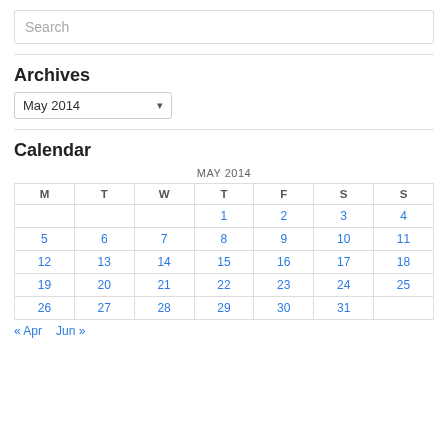Search
Archives
May 2014
Calendar
| M | T | W | T | F | S | S |
| --- | --- | --- | --- | --- | --- | --- |
|  |  |  | 1 | 2 | 3 | 4 |
| 5 | 6 | 7 | 8 | 9 | 10 | 11 |
| 12 | 13 | 14 | 15 | 16 | 17 | 18 |
| 19 | 20 | 21 | 22 | 23 | 24 | 25 |
| 26 | 27 | 28 | 29 | 30 | 31 |  |
« Apr   Jun »